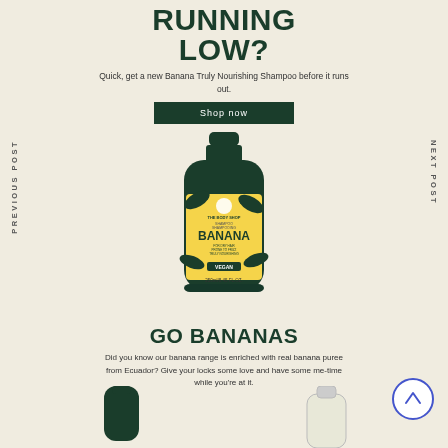RUNNING LOW?
Quick, get a new Banana Truly Nourishing Shampoo before it runs out.
Shop now
[Figure (photo): The Body Shop Banana Shampoo bottle (250ml), dark green bottle with yellow banana-themed label, vegan label, for dry hair prone to frizz, truly nourishing]
GO BANANAS
Did you know our banana range is enriched with real banana puree from Ecuador? Give your locks some love and have some me-time while you're at it.
[Figure (photo): Two product bottles partially visible at the bottom: a dark green shampoo bottle on the left and a clear/white bottle on the right]
PREVIOUS POST
NEXT POST